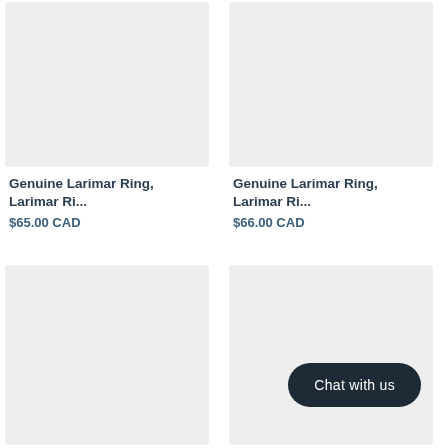[Figure (photo): Product image placeholder top-left, light gray background]
[Figure (photo): Product image placeholder top-right, light gray background]
Genuine Larimar Ring, Larimar Ri...
$65.00 CAD
Genuine Larimar Ring, Larimar Ri...
$66.00 CAD
[Figure (photo): Product image placeholder bottom-left, light gray background]
[Figure (photo): Product image placeholder bottom-right with Chat with us button overlay, light gray background]